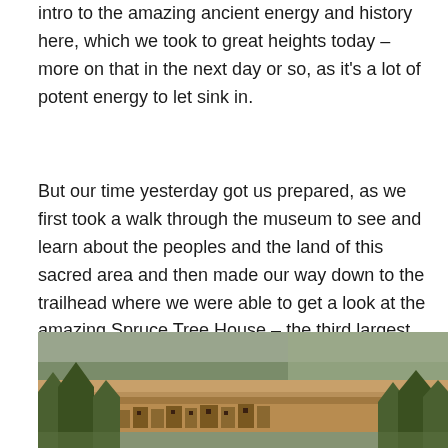intro to the amazing ancient energy and history here, which we took to great heights today – more on that in the next day or so, as it's a lot of potent energy to let sink in.
But our time yesterday got us prepared, as we first took a walk through the museum to see and learn about the peoples and the land of this sacred area and then made our way down to the trailhead where we were able to get a look at the amazing Spruce Tree House – the third largest cliff dwelling.
[Figure (photo): Photograph of Spruce Tree House cliff dwelling at Mesa Verde. Ancient stone pueblo structures are built into a sandstone cliff alcove. In the foreground are evergreen trees, and in the background is a dense forested hillside with some bare/dead trees visible against an overcast sky.]